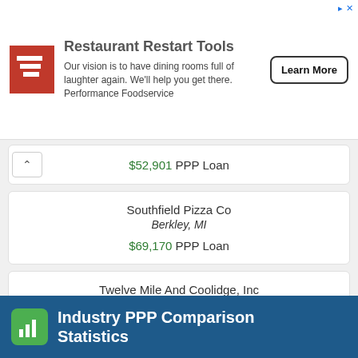[Figure (infographic): Performance Foodservice advertisement banner - Restaurant Restart Tools with logo, text and Learn More button]
$52,901 PPP Loan
Southfield Pizza Co
Berkley, MI
$69,170 PPP Loan
Twelve Mile And Coolidge, Inc
Berkely, MI
$65,700 PPP Loan
Industry PPP Comparison Statistics